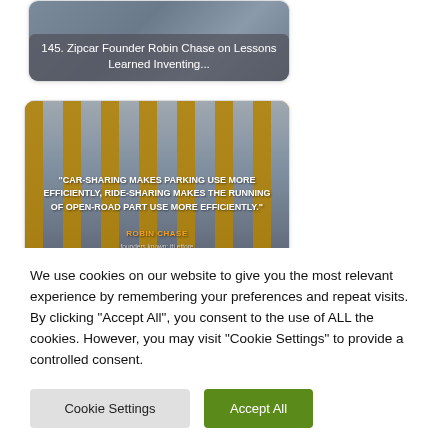[Figure (screenshot): Card showing '145. Zipcar Founder Robin Chase on Lessons Learned Inventing...' with a gray overlay banner on an image of cars]
[Figure (screenshot): Card showing a parking garage image with a quote: '"CAR-SHARING MAKES PARKING USE MORE EFFICIENTLY, RIDE-SHARING MAKES THE RUNNING OF OPEN-ROAD PART USE MORE EFFICIENTLY." - ROBIN CHASE, and below: REPLAY: Robin Chase - Lessons Learned Inventing']
We use cookies on our website to give you the most relevant experience by remembering your preferences and repeat visits. By clicking “Accept All”, you consent to the use of ALL the cookies. However, you may visit "Cookie Settings" to provide a controlled consent.
Cookie Settings
Accept All